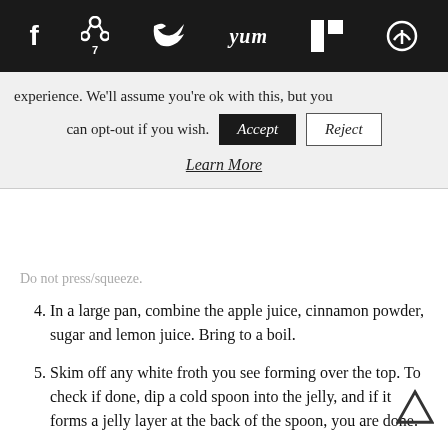[Figure (other): Social media sharing bar with icons for Facebook, Pinterest (with badge 7), Twitter, Yummly, Flipboard, and a circular share icon on a black background]
experience. We'll assume you're ok with this, but you can opt-out if you wish. Accept Reject
Learn More
Do not press/squeeze.
4. In a large pan, combine the apple juice, cinnamon powder, sugar and lemon juice. Bring to a boil.
5. Skim off any white froth you see forming over the top. To check if done, dip a cold spoon into the jelly, and if it forms a jelly layer at the back of the spoon, you are done.
6. Pour into sterilized bottles, and cool over a wire rack. Once the steam has evaporated,